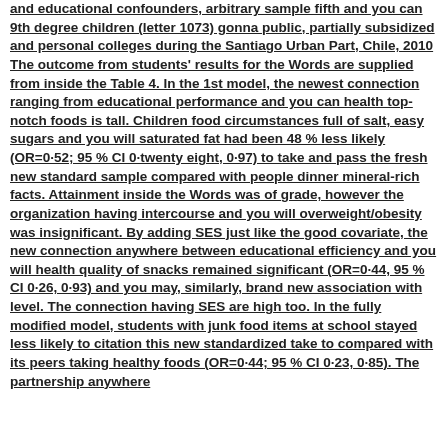and educational confounders, arbitrary sample fifth and you can 9th degree children (letter 1073) gonna public, partially subsidized and personal colleges during the Santiago Urban Part, Chile, 2010 The outcome from students' results for the Words are supplied from inside the Table 4. In the 1st model, the newest connection ranging from educational performance and you can health top-notch foods is tall. Children food circumstances full of salt, easy sugars and you will saturated fat had been 48 % less likely (OR=0·52; 95 % CI 0·twenty eight, 0·97) to take and pass the fresh new standard sample compared with people dinner mineral-rich facts. Attainment inside the Words was of grade, however the organization having intercourse and you will overweight/obesity was insignificant. By adding SES just like the good covariate, the new connection anywhere between educational efficiency and you will health quality of snacks remained significant (OR=0·44, 95 % CI 0·26, 0·93) and you may, similarly, brand new association with level. The connection having SES are high too. In the fully modified model, students with junk food items at school stayed less likely to citation this new standardized take to compared with its peers taking healthy foods (OR=0·44; 95 % CI 0·23, 0·85). The partnership anywhere